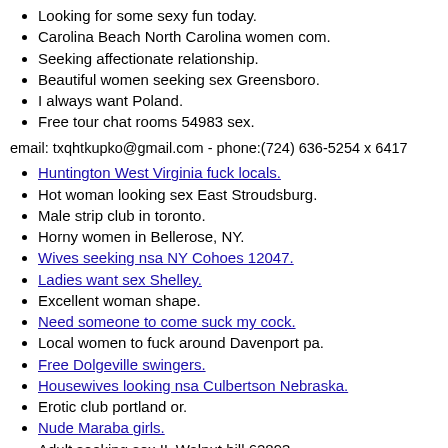Looking for some sexy fun today.
Carolina Beach North Carolina women com.
Seeking affectionate relationship.
Beautiful women seeking sex Greensboro.
I always want Poland.
Free tour chat rooms 54983 sex.
email: txqhtkupko@gmail.com - phone:(724) 636-5254 x 6417
Huntington West Virginia fuck locals.
Hot woman looking sex East Stroudsburg.
Male strip club in toronto.
Horny women in Bellerose, NY.
Wives seeking nsa NY Cohoes 12047.
Ladies want sex Shelley.
Excellent woman shape.
Need someone to come suck my cock.
Local women to fuck around Davenport pa.
Free Dolgeville swingers.
Housewives looking nsa Culbertson Nebraska.
Erotic club portland or.
Nude Maraba girls.
Adult seeking sex IL Walnut hill 62893.
Xxx Denver women.
Horny housewives in Eugene.
No Monger sex for locals.